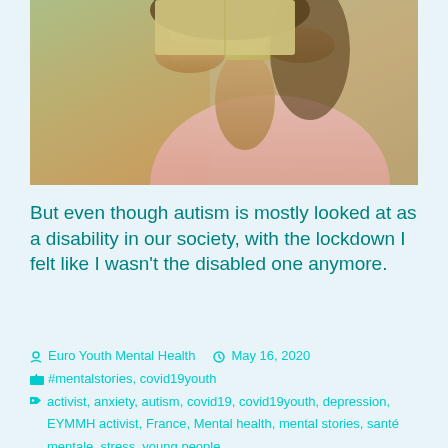[Figure (photo): Person in pink top holding a book/paper up, photographed outdoors]
But even though autism is mostly looked at as a disability in our society, with the lockdown I felt like I wasn't the disabled one anymore.
Euro Youth Mental Health   May 16, 2020
#mentalstories, covid19youth
activist, anxiety, autism, covid19, covid19youth, depression, EYMMH activist, France, Mental health, mental stories, santé mentale, stress, young people
Leave a comment